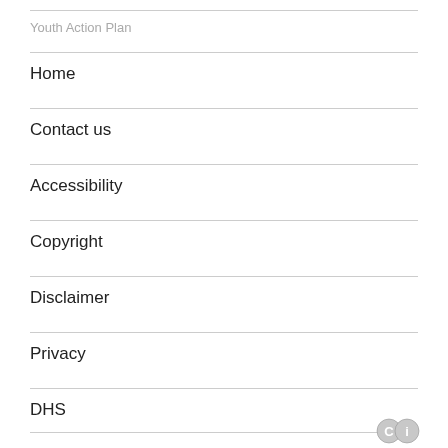Youth Action Plan
Home
Contact us
Accessibility
Copyright
Disclaimer
Privacy
DHS
[Figure (logo): Creative Commons license icon at bottom right]